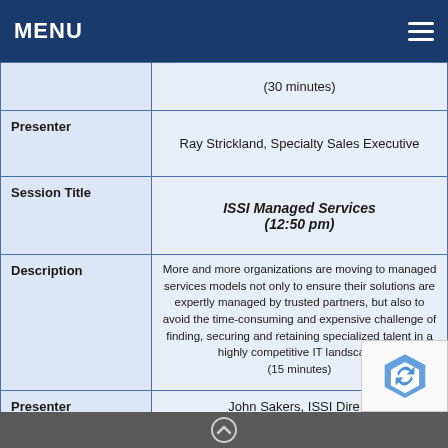MENU
| Field | Value |
| --- | --- |
|  | (30 minutes) |
| Presenter | Ray Strickland, Specialty Sales Executive |
| Session Title | ISSI Managed Services (12:50 pm) |
| Description | More and more organizations are moving to managed services models not only to ensure their solutions are expertly managed by trusted partners, but also to avoid the time-consuming and expensive challenge of finding, securing and retaining specialized talent in a highly competitive IT landscape. (15 minutes) |
| Presenter | John Sakers, ISSI Dire... |